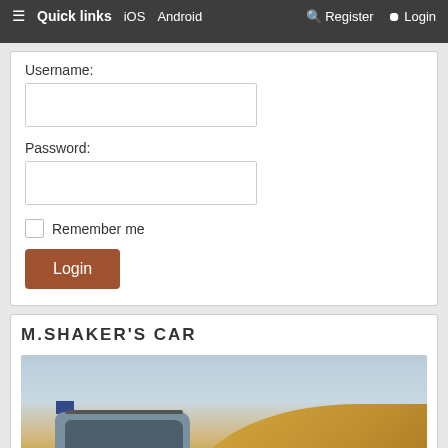LOGIN • REGISTER
≡ Quick links   iOS   Android   Register   Login
Username:
Password:
Remember me
Login
M.SHAKER'S CAR
[Figure (photo): A silver SUV/pickup truck driving on sand dunes in a desert, with a flag on an antenna. Sandy dunes visible in the background under a hazy sky.]